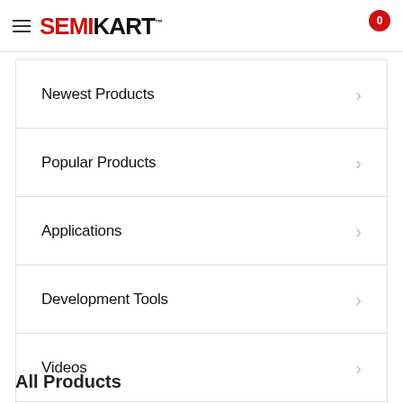SEMIKART
Newest Products
Popular Products
Applications
Development Tools
Videos
Resources & Support
All Products